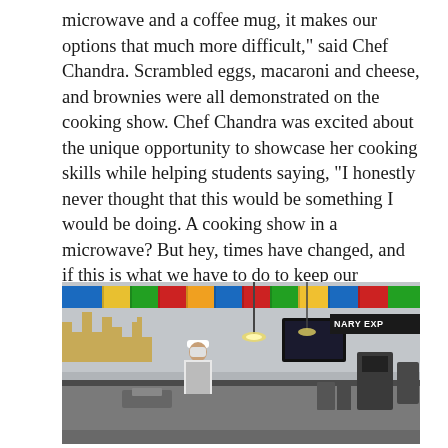microwave and a coffee mug, it makes our options that much more difficult," said Chef Chandra. Scrambled eggs, macaroni and cheese, and brownies were all demonstrated on the cooking show. Chef Chandra was excited about the unique opportunity to showcase her cooking skills while helping students saying, “I honestly never thought that this would be something I would be doing. A cooking show in a microwave? But hey, times have changed, and if this is what we have to do to keep our students engaged I am on board.” The students and staff all enjoyed the demo and appreciated “Captain Spice” and all of her enthusiasm for cooking.
[Figure (photo): Interior of a cafeteria or food court with international flags hanging from the ceiling, a yellow city skyline wall mural on the left, a dark TV monitor, a sign reading 'NARY EXPO' or 'CULINARY EXPO' on the right, a person in chef's whites and apron working behind the counter, and kitchen equipment on the counter.]